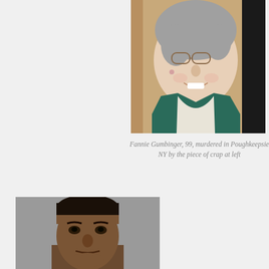[Figure (photo): Portrait photo of an elderly woman with gray hair and glasses, smiling, wearing a teal vest and white scarf]
Fannie Gumbinger, 99, murdered in Poughkeepsie NY by the piece of crap at left
[Figure (photo): Mugshot photo of a young man with short dark hair against a gray wall]